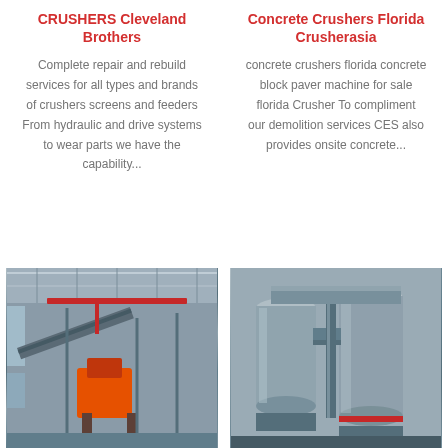CRUSHERS Cleveland Brothers
Complete repair and rebuild services for all types and brands of crushers screens and feeders From hydraulic and drive systems to wear parts we have the capability...
Concrete Crushers Florida Crusherasia
concrete crushers florida concrete block paver machine for sale florida Crusher To compliment our demolition services CES also provides onsite concrete...
[Figure (photo): Industrial crusher machinery inside a large factory/warehouse with overhead crane, conveyor belts, and orange heavy equipment]
[Figure (photo): Industrial milling or grinding machinery with large cylindrical tanks, pipes, and ducts in an outdoor industrial setting]